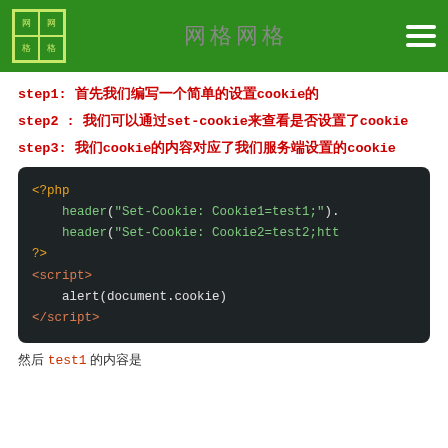网格
step1: 首先我们编写一个简单的设置cookie的
step2 : 我们可以通过set-cookie来查看是否设置了cookie
step3: 我们cookie的内容对应了我们服务端设置的cookie
[Figure (screenshot): PHP and JavaScript code block showing cookie setting with header() and alert(document.cookie)]
然后 test1 的内容是